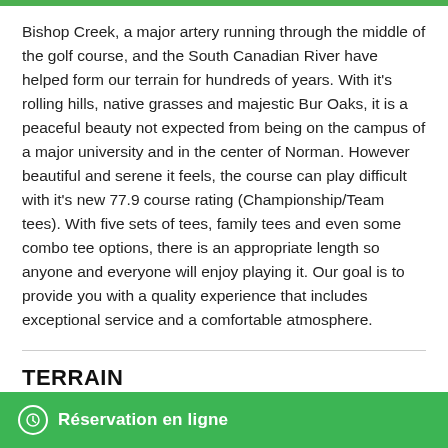Bishop Creek, a major artery running through the middle of the golf course, and the South Canadian River have helped form our terrain for hundreds of years. With it's rolling hills, native grasses and majestic Bur Oaks, it is a peaceful beauty not expected from being on the campus of a major university and in the center of Norman. However beautiful and serene it feels, the course can play difficult with it's new 77.9 course rating (Championship/Team tees). With five sets of tees, family tees and even some combo tee options, there is an appropriate length so anyone and everyone will enjoy playing it. Our goal is to provide you with a quality experience that includes exceptional service and a comfortable atmosphere.
TERRAIN
Réservation en ligne